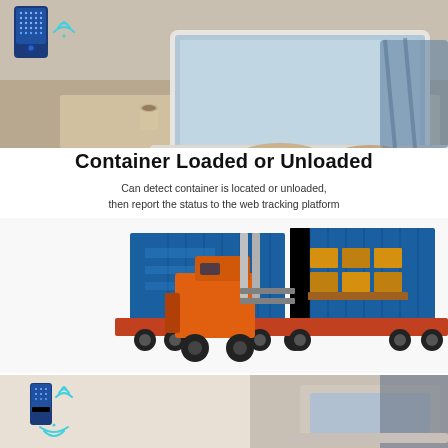[Figure (photo): A person working on a laptop at a desk, with a blue GPS/IoT tracking device with wireless signal indicators shown in the top-left corner of the image.]
Container Loaded or Unloaded
Can detect container is located or unloaded,
then report the status to the web tracking platform
[Figure (illustration): An illustration showing a forklift loading/unloading cargo (pallets of goods) into a blue shipping container on a truck trailer.]
[Figure (photo): Bottom portion showing a blue IoT tracking device with wireless signal and a person working on a laptop in the background.]